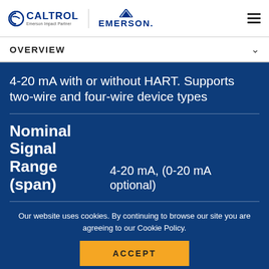CALTROL Emerson Impact Partner | EMERSON
OVERVIEW
4-20 mA with or without HART. Supports two-wire and four-wire device types
Nominal Signal Range (span)    4-20 mA, (0-20 mA optional)
Our website uses cookies. By continuing to browse our site you are agreeing to our Cookie Policy.
ACCEPT